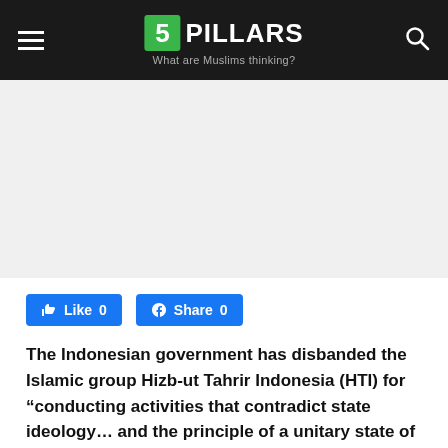5 PILLARS — What are Muslims thinking?
[Figure (other): Gray placeholder / advertisement area below the header navigation bar]
Like 0   Share 0
The Indonesian government has disbanded the Islamic group Hizb-ut Tahrir Indonesia (HTI) for “conducting activities that contradict state ideology… and the principle of a unitary state of the Republic of Indonesia.”
The Law and Human Rights Ministry officially revoked HTI’s